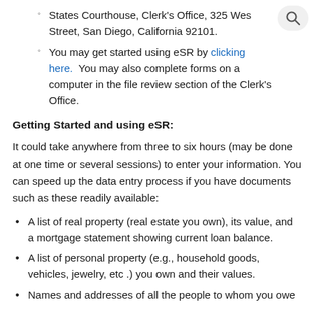States Courthouse, Clerk's Office, 325 Wes Street, San Diego, California 92101.
You may get started using eSR by clicking here. You may also complete forms on a computer in the file review section of the Clerk's Office.
Getting Started and using eSR:
It could take anywhere from three to six hours (may be done at one time or several sessions) to enter your information. You can speed up the data entry process if you have documents such as these readily available:
A list of real property (real estate you own), its value, and a mortgage statement showing current loan balance.
A list of personal property (e.g., household goods, vehicles, jewelry, etc .) you own and their values.
Names and addresses of all the people to whom you owe